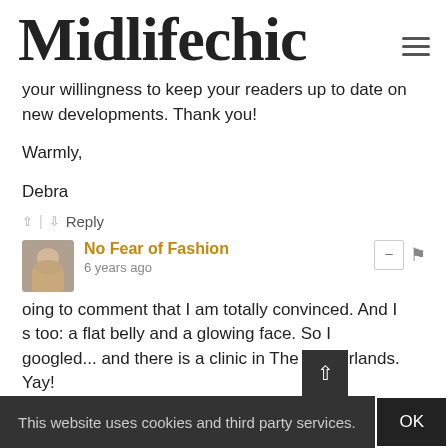Midlifechic
your willingness to keep your readers up to date on new developments. Thank you!
Warmly,
Debra
Reply
No Fear of Fashion
6 years ago
oing to comment that I am totally convinced. And I s too: a flat belly and a glowing face. So I googled... and there is a clinic in The Netherlands. Yay! Greetje
This website uses cookies and third party services. OK